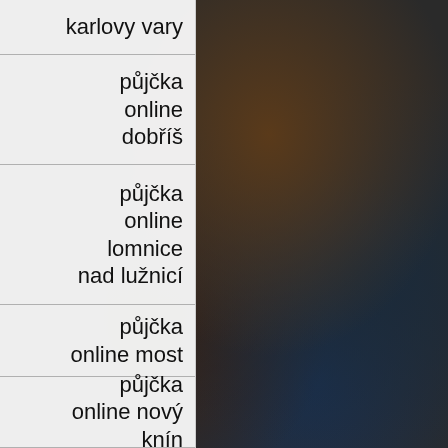karlovy vary
půjčka online dobříš
půjčka online lomnice nad lužnicí
půjčka online most
půjčka online nový knín